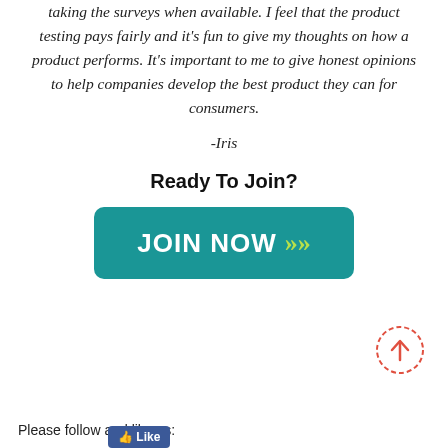taking the surveys when available. I feel that the product testing pays fairly and it's fun to give my thoughts on how a product performs. It's important to me to give honest opinions to help companies develop the best product they can for consumers.
-Iris
Ready To Join?
[Figure (other): Teal rounded rectangle button with white bold text 'JOIN NOW' and green double chevron arrows]
[Figure (other): Scroll-to-top circular button with red upward arrow, dashed red border]
Please follow and like us:
[Figure (other): Facebook like/follow button in blue]